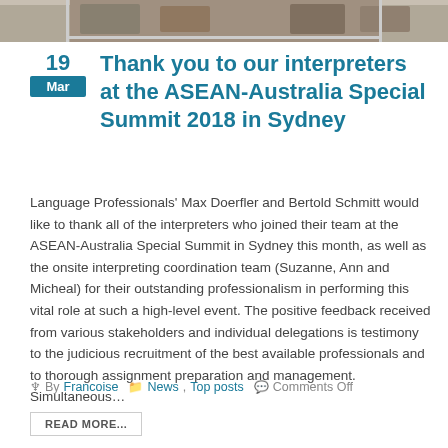[Figure (photo): Top portion of a photo showing what appears to be people at a conference or summit event, partially cropped at the top of the page.]
Thank you to our interpreters at the ASEAN-Australia Special Summit 2018 in Sydney
Language Professionals’ Max Doerfler and Bertold Schmitt would like to thank all of the interpreters who joined their team at the ASEAN-Australia Special Summit in Sydney this month, as well as the onsite interpreting coordination team (Suzanne, Ann and Micheal) for their outstanding professionalism in performing this vital role at such a high-level event. The positive feedback received from various stakeholders and individual delegations is testimony to the judicious recruitment of the best available professionals and to thorough assignment preparation and management. Simultaneous…
By Francoise   News, Top posts   Comments Off
READ MORE...